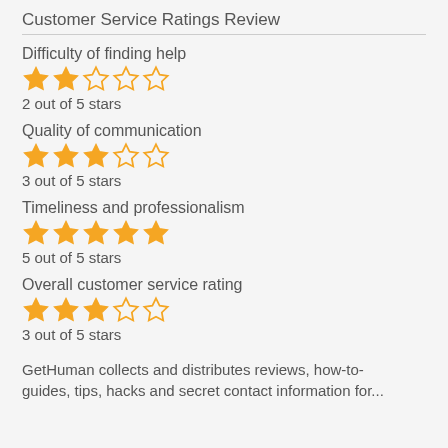Customer Service Ratings Review
Difficulty of finding help
[Figure (other): 2 out of 5 stars rating shown as star icons]
2 out of 5 stars
Quality of communication
[Figure (other): 3 out of 5 stars rating shown as star icons]
3 out of 5 stars
Timeliness and professionalism
[Figure (other): 5 out of 5 stars rating shown as star icons]
5 out of 5 stars
Overall customer service rating
[Figure (other): 3 out of 5 stars rating shown as star icons]
3 out of 5 stars
GetHuman collects and distributes reviews, how-to-guides, tips, hacks and secret contact information for...